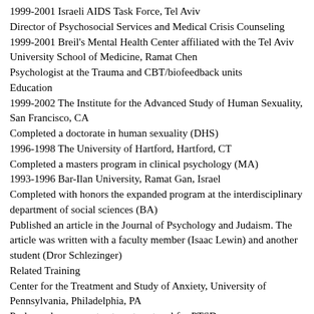1999-2001 Israeli AIDS Task Force, Tel Aviv
Director of Psychosocial Services and Medical Crisis Counseling
1999-2001 Breil's Mental Health Center affiliated with the Tel Aviv University School of Medicine, Ramat Chen
Psychologist at the Trauma and CBT/biofeedback units
Education
1999-2002 The Institute for the Advanced Study of Human Sexuality, San Francisco, CA
Completed a doctorate in human sexuality (DHS)
1996-1998 The University of Hartford, Hartford, CT
Completed a masters program in clinical psychology (MA)
1993-1996 Bar-Ilan University, Ramat Gan, Israel
Completed with honors the expanded program at the interdisciplinary department of social sciences (BA)
Published an article in the Journal of Psychology and Judaism. The article was written with a faculty member (Isaac Lewin) and another student (Dror Schlezinger)
Related Training
Center for the Treatment and Study of Anxiety, University of Pennsylvania, Philadelphia, PA
Prolonged exposure treatment protocol for PTSD
1998 Stone Center for Women, MA
Relational therapy
1998 Saybrook Graduate School and Research Center, San Francisco, CA